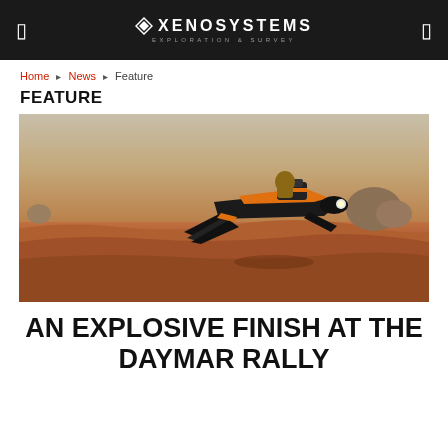XENOSYSTEMS EXPLORATION & SURVEY
Home › News › Feature
FEATURE
[Figure (illustration): A sci-fi hoverbike/speeder with black and orange coloring flying low over a reddish-orange Martian desert landscape with rocky terrain and hazy sky.]
AN EXPLOSIVE FINISH AT THE DAYMAR RALLY